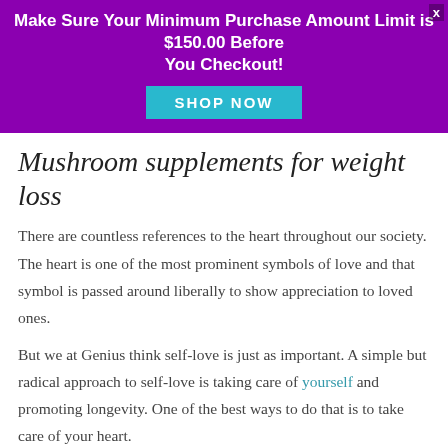Make Sure Your Minimum Purchase Amount Limit is $150.00 Before You Checkout!
Mushroom supplements for weight loss
There are countless references to the heart throughout our society. The heart is one of the most prominent symbols of love and that symbol is passed around liberally to show appreciation to loved ones.
But we at Genius think self-love is just as important. A simple but radical approach to self-love is taking care of yourself and promoting longevity. One of the best ways to do that is to take care of your heart.